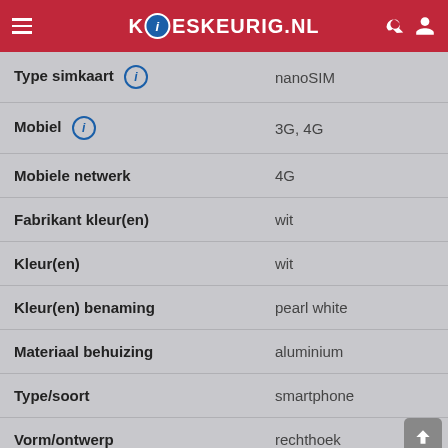KOESKEURIG.NL
| Kenmerk | Waarde |
| --- | --- |
| Type simkaart | nanoSIM |
| Mobiel | 3G, 4G |
| Mobiele netwerk | 4G |
| Fabrikant kleur(en) | wit |
| Kleur(en) | wit |
| Kleur(en) benaming | pearl white |
| Materiaal behuizing | aluminium |
| Type/soort | smartphone |
| Vorm/ontwerp | rechthoek |